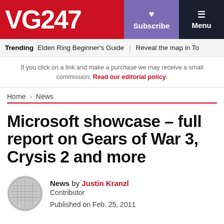VG247 | Subscribe | Menu
Trending Elden Ring Beginner's Guide | Reveal the map in To
If you click on a link and make a purchase we may receive a small commission. Read our editorial policy.
Home > News
Microsoft showcase – full report on Gears of War 3, Crysis 2 and more
News by Justin Kranzl
Contributor
Published on Feb. 25, 2011